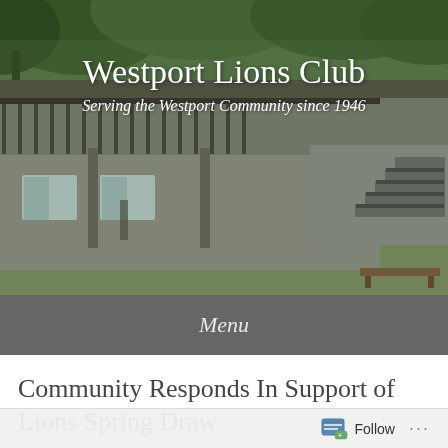[Figure (photo): Exterior photo of a community building/clubhouse with green siding, covered porches, and concrete steps, set against a background of green trees]
Westport Lions Club
Serving the Westport Community since 1946
Menu
Community Responds In Support of Lions Spring Draw
Posted on August 9, 2020